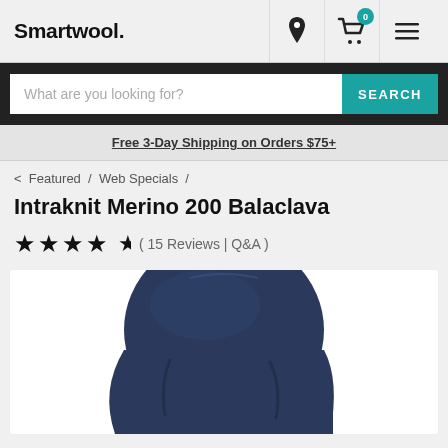Smartwool.
What are you looking for? SEARCH
Free 3-Day Shipping on Orders $75+
< Featured / Web Specials /
Intraknit Merino 200 Balaclava
( 15 Reviews | Q&A )
[Figure (photo): Navy blue Intraknit Merino 200 Balaclava product photo showing the top and back of the hood]